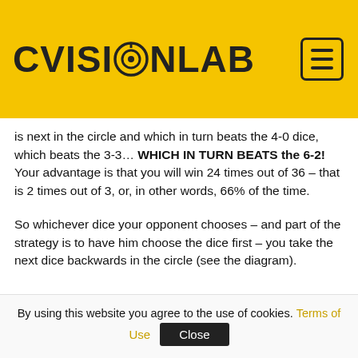CVISIONLAB
is next in the circle and which in turn beats the 4-0 dice, which beats the 3-3… WHICH IN TURN BEATS the 6-2! Your advantage is that you will win 24 times out of 36 – that is 2 times out of 3, or, in other words, 66% of the time.
So whichever dice your opponent chooses – and part of the strategy is to have him choose the dice first – you take the next dice backwards in the circle (see the diagram).
[Figure (illustration): A cross-shaped grid diagram showing a dice face layout. Top center cell contains '2', middle row contains '6', '2', '6' left to right, and the bottom partially visible cells show '1' and '2'.]
By using this website you agree to the use of cookies. Terms of Use  Close